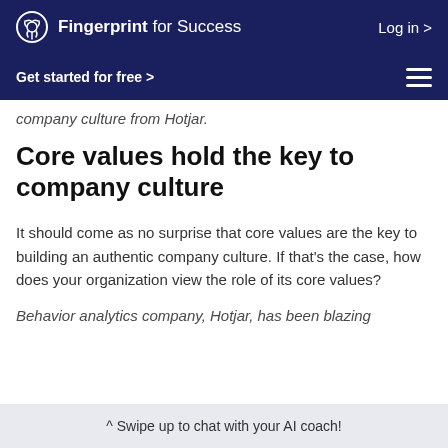Fingerprint for Success — Log in >
Get started for free >
company culture from Hotjar.
Core values hold the key to company culture
It should come as no surprise that core values are the key to building an authentic company culture. If that's the case, how does your organization view the role of its core values?
Behavior analytics company, Hotjar, has been blazing
^ Swipe up to chat with your AI coach!